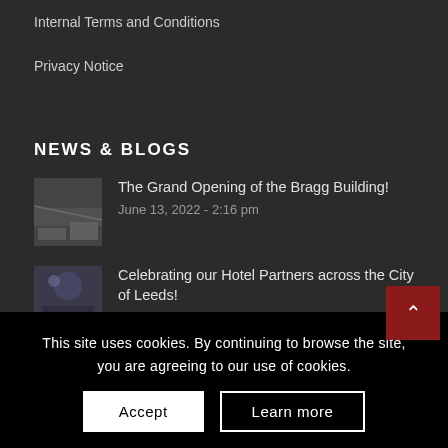Internal Terms and Conditions
Privacy Notice
NEWS & BLOGS
The Grand Opening of the Bragg Building!
June 13, 2022 - 2:16 pm
Celebrating our Hotel Partners across the City of Leeds!
April 11, 2022 - 10:50 am
#Leeds2023 – A journey back through our cultural
This site uses cookies. By continuing to browse the site, you are agreeing to our use of cookies.
Accept
Learn more